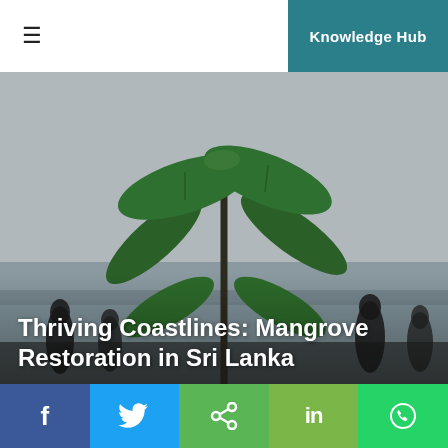≡   Knowledge Hub
[Figure (photo): A young mangrove seedling with broad green leaves held up in the foreground against a grey overcast sky, with silhouettes of people standing in shallow water in the background along a coastline.]
Thriving Coastlines: Mangrove Restoration in Sri Lanka